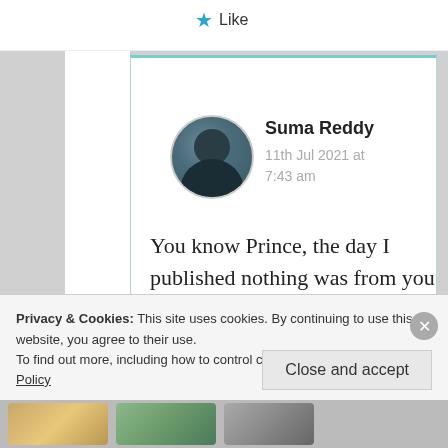★ Like
[Figure (photo): Circular avatar photo of Suma Reddy, woman with dark hair]
Suma Reddy
11th Jul 2021 at 7:43 am
You know Prince, the day I published nothing was from you all was okay.
Now you started. Why
Privacy & Cookies: This site uses cookies. By continuing to use this website, you agree to their use.
To find out more, including how to control cookies, see here: Cookie Policy
Close and accept